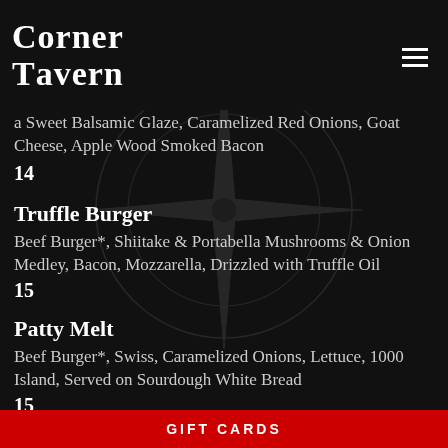Corner Tavern
Balsamic Glaze, Caramelized Red Onions, Goat Cheese, Apple Wood Smoked Bacon
14
Truffle Burger
Beef Burger*, Shiitake & Portabella Mushrooms & Onion Medley, Bacon, Mozzarella, Drizzled with Truffle Oil
15
Patty Melt
Beef Burger*, Swiss, Caramelized Onions, Lettuce, 1000 Island, Served on Sourdough White Bread
15
GIFT CARDS